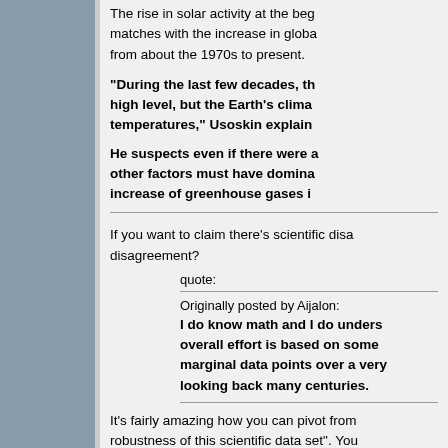The rise in solar activity at the beginning of the 20th century matches with the increase in global temperatures from about the 1970s to present.
"During the last few decades, the sun has been at a high level, but the Earth's climate continued to rise in temperatures," Usoskin explained.
He suspects even if there were a solar influence, other factors must have dominated, such as the increase of greenhouse gases in the atmosphere.
If you want to claim there's scientific disagreement?
quote:
Originally posted by Aijalon: I do know math and I do understand that this overall effort is based on some marginal data points over a very, looking back many centuries.
It's fairly amazing how you can pivot from claiming "scientific disagreement" to questioning the robustness of this scientific data set". You need to provide some kind of citation to support your claim or which case show your work.